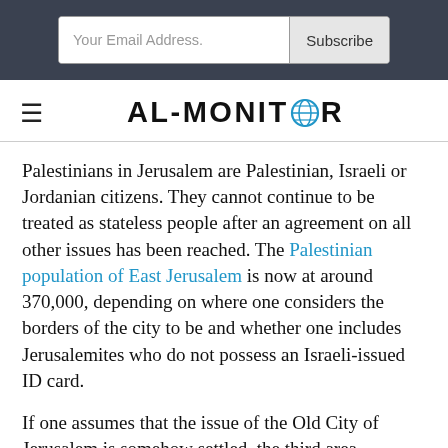Your Email Address. Subscribe
AL-MONITOR
Palestinians in Jerusalem are Palestinian, Israeli or Jordanian citizens. They cannot continue to be treated as stateless people after an agreement on all other issues has been reached. The Palestinian population of East Jerusalem is now at around 370,000, depending on where one considers the borders of the city to be and whether one includes Jerusalemites who do not possess an Israeli-issued ID card.
If one assumes that the issue of the Old City of Jerusalem is somehow settled, the third area